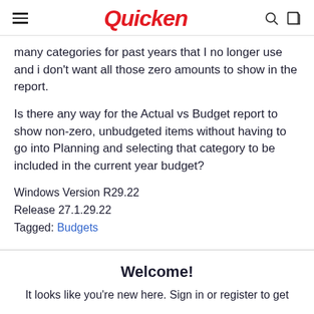Quicken
many categories for past years that I no longer use and i don't want all those zero amounts to show in the report.
Is there any way for the Actual vs Budget report to show non-zero, unbudgeted items without having to go into Planning and selecting that category to be included in the current year budget?
Windows Version R29.22
Release 27.1.29.22
Tagged: Budgets
Welcome!
It looks like you're new here. Sign in or register to get